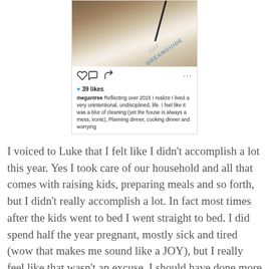[Figure (screenshot): Instagram post screenshot showing a photo of a 2016 Dream Guide booklet with a pen, below which are action icons (heart, comment, share), 39 likes count, and a caption by megantree about reflecting over 2015 and feeling life was unintentional and undisciplined.]
I voiced to Luke that I felt like I didn't accomplish a lot this year. Yes I took care of our household and all that comes with raising kids, preparing meals and so forth, but I didn't really accomplish a lot. In fact most times after the kids went to bed I went straight to bed. I did spend half the year pregnant, mostly sick and tired (wow that makes me sound like a JOY), but I really feel like that wasn't an excuse. I should have done more with my time.